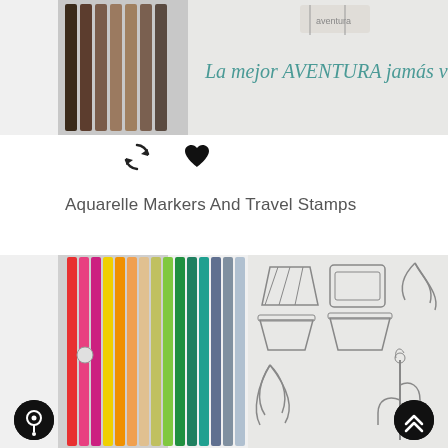[Figure (photo): Product photo of a set of aquarelle markers in brown/dark tones alongside a travel stamp sheet with handwritten text 'La mejor AVENTURA jamás vivida' on a light grey background]
[Figure (illustration): Refresh/reload icon (circular arrows) and a heart icon, serving as UI action buttons]
Aquarelle Markers And Travel Stamps
[Figure (photo): Product photo of a large set of colorful aquarelle markers arranged vertically on the left, and a stamp sheet on the right showing outline illustrations of geometric plant pots, leaf sprigs, and cactus on a light grey background]
[Figure (illustration): Dark circular chat/messenger button at bottom left]
[Figure (illustration): Dark circular scroll-to-top button with double chevron up at bottom right]